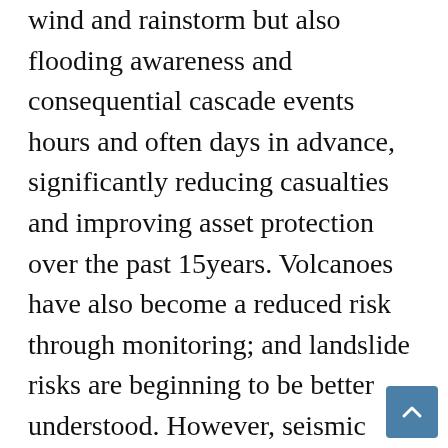wind and rainstorm but also flooding awareness and consequential cascade events hours and often days in advance, significantly reducing casualties and improving asset protection over the past 15years. Volcanoes have also become a reduced risk through monitoring; and landslide risks are beginning to be better understood. However, seismic activities can trigger their own cascade events such as landslides, dam breaches and glacier breakouts, causing moraine collapses with debris flows and, river blockages and spontaneous urban fires and infrastructure and health service failure.